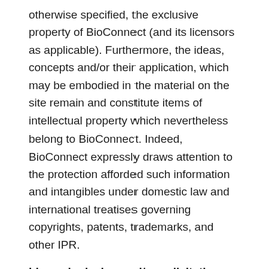otherwise specified, the exclusive property of BioConnect (and its licensors as applicable). Furthermore, the ideas, concepts and/or their application, which may be embodied in the material on the site remain and constitute items of intellectual property which nevertheless belong to BioConnect. Indeed, BioConnect expressly draws attention to the protection afforded such information and intangibles under domestic law and international treatises governing copyrights, patents, trademarks, and other IPR.
Idea submission and/or solicitation
BioConnect and its employees do not accept or consider ideas or feedback, including those